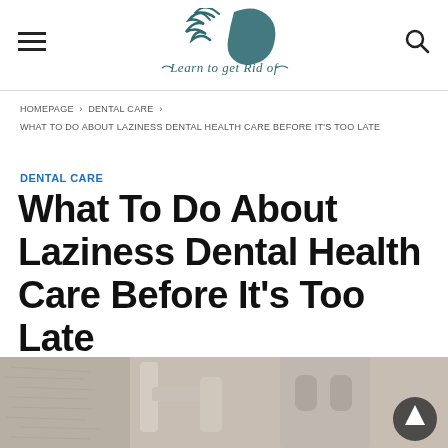Learn to get Rid of [logo with site navigation]
HOMEPAGE › DENTAL CARE › WHAT TO DO ABOUT LAZINESS DENTAL HEALTH CARE BEFORE IT'S TOO LATE
DENTAL CARE
What To Do About Laziness Dental Health Care Before It's Too Late
[Figure (photo): Dental office equipment photo, showing dental chair arms and equipment in muted beige/grey tones]